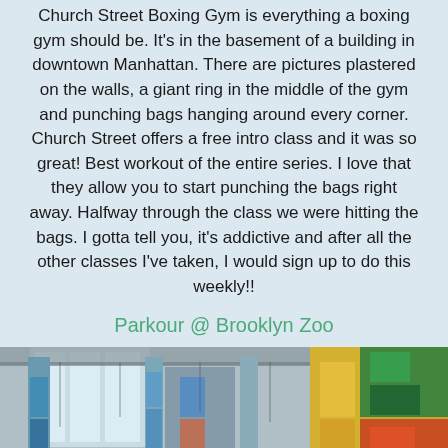Church Street Boxing Gym is everything a boxing gym should be. It's in the basement of a building in downtown Manhattan. There are pictures plastered on the walls, a giant ring in the middle of the gym and punching bags hanging around every corner. Church Street offers a free intro class and it was so great! Best workout of the entire series. I love that they allow you to start punching the bags right away. Halfway through the class we were hitting the bags. I gotta tell you, it's addictive and after all the other classes I've taken, I would sign up to do this weekly!!
Parkour @ Brooklyn Zoo
[Figure (photo): Interior of a large industrial space (Brooklyn Zoo) with colorful graffiti murals on pillars and walls, large windows on the left letting in natural light, and a wide open floor area.]